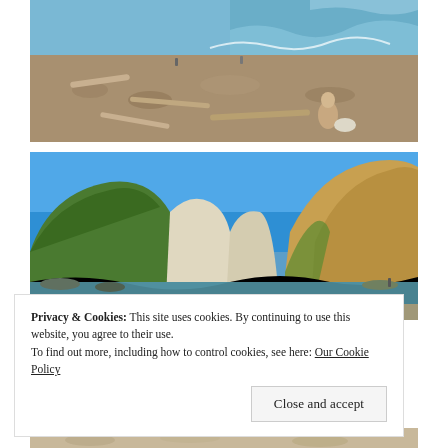[Figure (photo): Rocky beach with driftwood and a person crouching near the ocean waves. Rocky shoreline with scattered logs and people in the distance.]
[Figure (photo): Coastal cove with clear blue sky, green and brown hillsides, rocky cliffs, calm water inlet, and a pebble beach.]
Privacy & Cookies: This site uses cookies. By continuing to use this website, you agree to their use.
To find out more, including how to control cookies, see here: Our Cookie Policy
[Figure (photo): Partial view of a rocky or sandy beach at the bottom of the page.]